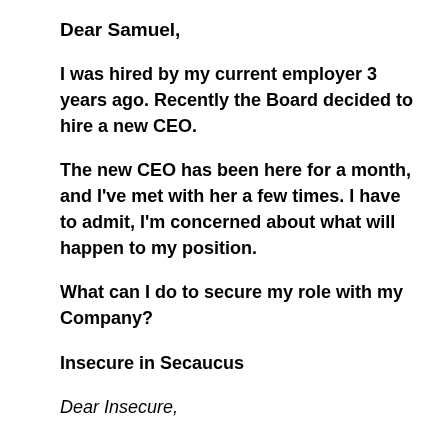Dear Samuel,
I was hired by my current employer 3 years ago. Recently the Board decided to hire a new CEO.
The new CEO has been here for a month, and I've met with her a few times. I have to admit, I'm concerned about what will happen to my position.
What can I do to secure my role with my Company?
Insecure in Secaucus
Dear Insecure,